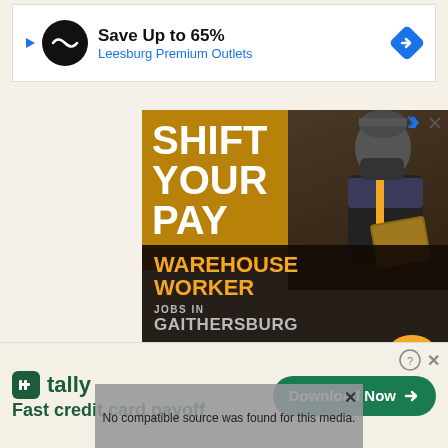[Figure (screenshot): Top advertisement banner: Save Up to 65% Leesburg Premium Outlets with navigation arrow icon]
[Figure (screenshot): UPS warehouse worker recruitment ad: SHIFT YOUR PAY - WAREHOUSE WORKER - JOBS IN GAITHERSBURG - $15.50/HOUR - Make the shift. Make a difference. - LEARN MORE button]
[Figure (screenshot): Video player overlay showing No compatible source was found for this media message with X close button]
[Figure (screenshot): Tally app bottom ad banner: Fast credit card payoff - Download Now button]